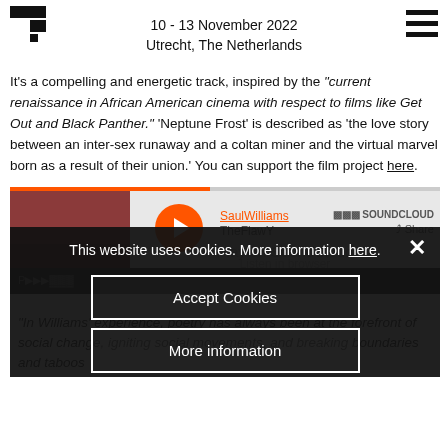10 - 13 November 2022
Utrecht, The Netherlands
It's a compelling and energetic track, inspired by the "current renaissance in African American cinema with respect to films like Get Out and Black Panther." 'Neptune Frost' is described as 'the love story between an inter-sex runaway and a coltan miner and the virtual marvel born as a result of their union.' You can support the film project here.
[Figure (screenshot): SoundCloud embedded player with a cookie consent overlay. The overlay contains text: 'This website uses cookies. More information here.' with an 'Accept Cookies' button and a 'More information' button. Behind the overlay: SaulWilliams / TheFlawY track, play button, SOUNDCLOUD branding, Share button, 'Play on SoundCloud' and 'Listen in browser' text, and a bottom bar. Below the overlay partial italic text reads: '"In Williams' experience, poetry has always been at the forefront of social change, igniting social movements, and breaking boundaries and taboos']